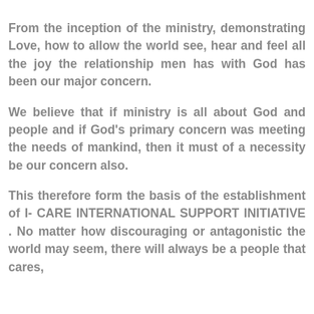From the inception of the ministry, demonstrating Love, how to allow the world see, hear and feel all the joy the relationship men has with God has been our major concern.
We believe that if ministry is all about God and people and if God's primary concern was meeting the needs of mankind, then it must of a necessity be our concern also.
This therefore form the basis of the establishment of I- CARE INTERNATIONAL SUPPORT INITIATIVE . No matter how discouraging or antagonistic the world may seem, there will always be a people that cares,